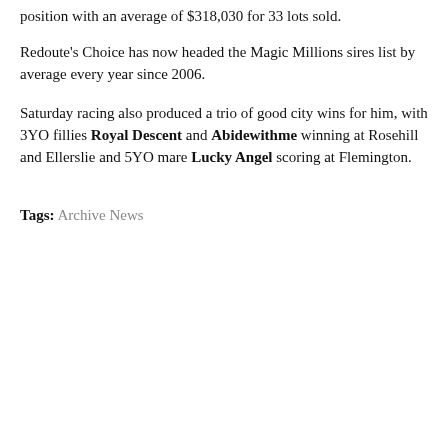position with an average of $318,030 for 33 lots sold.
Redoute's Choice has now headed the Magic Millions sires list by average every year since 2006.
Saturday racing also produced a trio of good city wins for him, with 3YO fillies Royal Descent and Abidewithme winning at Rosehill and Ellerslie and 5YO mare Lucky Angel scoring at Flemington.
Tags: Archive News